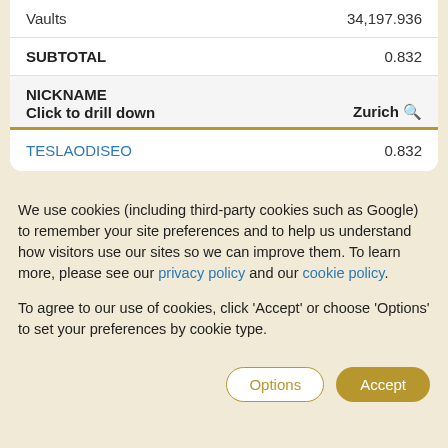| Category | Value |
| --- | --- |
| Vaults | 34,197.936 |
| SUBTOTAL | 0.832 |
| NICKNAME / Click to drill down | Zurich 🔍 |
| TESLAODISEO | 0.832 |
We use cookies (including third-party cookies such as Google) to remember your site preferences and to help us understand how visitors use our sites so we can improve them. To learn more, please see our privacy policy and our cookie policy.
To agree to our use of cookies, click 'Accept' or choose 'Options' to set your preferences by cookie type.